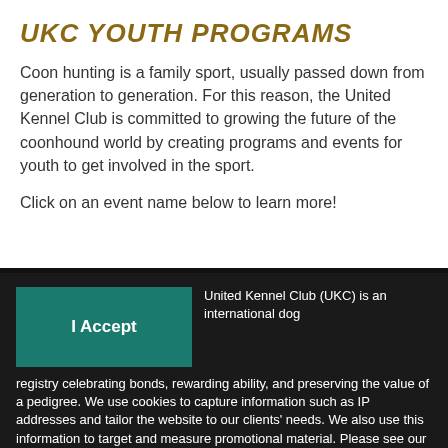UKC YOUTH PROGRAMS
Coon hunting is a family sport, usually passed down from generation to generation. For this reason, the United Kennel Club is committed to growing the future of the coonhound world by creating programs and events for youth to get involved in the sport.
Click on an event name below to learn more!
United Kennel Club (UKC) is an international dog registry celebrating bonds, rewarding ability, and preserving the value of a pedigree. We use cookies to capture information such as IP addresses and tailor the website to our clients' needs. We also use this information to target and measure promotional material. Please see our Privacy Policy for more information.